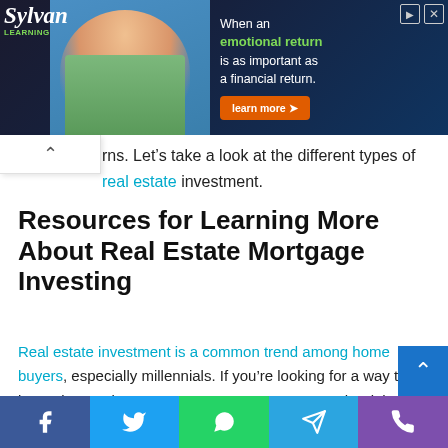[Figure (photo): Sylvan Learning advertisement banner featuring a smiling person and the text: 'When an emotional return is as important as a financial return.' with a green 'Learn More' button.]
rns. Let's take a look at the different types of real estate investment.
Resources for Learning More About Real Estate Mortgage Investing
Real estate investment is a common trend among home buyers, especially millennials. If you're looking for a way to invest in a real estate mortgage, you've come to the right place. However, if you're new to investing in real estate mortgages, you need to find out what you should consider. First, you need to understand the different types of real estate investments. Then, you need to find out if